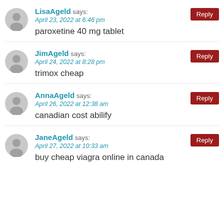LisaAgeld says:
April 23, 2022 at 6:46 pm
paroxetine 40 mg tablet
JimAgeld says:
April 24, 2022 at 8:28 pm
trimox cheap
AnnaAgeld says:
April 26, 2022 at 12:38 am
canadian cost abilify
JaneAgeld says:
April 27, 2022 at 10:33 am
buy cheap viagra online in canada